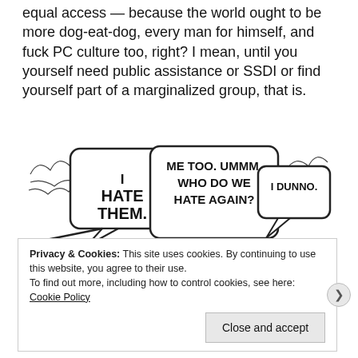equal access — because the world ought to be more dog-eat-dog, every man for himself, and fuck PC culture too, right? I mean, until you yourself need public assistance or SSDI or find yourself part of a marginalized group, that is.
[Figure (illustration): A black and white cartoon showing three figures with speech bubbles. Left figure says 'I HATE THEM.', middle figure says 'ME TOO. UMMM. WHO DO WE HATE AGAIN?', right figure says 'I DUNNO.']
Privacy & Cookies: This site uses cookies. By continuing to use this website, you agree to their use.
To find out more, including how to control cookies, see here: Cookie Policy
Close and accept